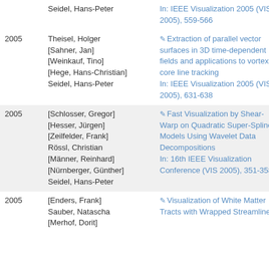| Year | Authors | Title/Venue | Type |
| --- | --- | --- | --- |
|  | Seidel, Hans-Peter | In: IEEE Visualization 2005 (VIS 2005), 559-566 |  |
| 2005 | Theisel, Holger
[Sahner, Jan]
[Weinkauf, Tino]
[Hege, Hans-Christian]
Seidel, Hans-Peter | Extraction of parallel vector surfaces in 3D time-dependent fields and applications to vortex core line tracking
In: IEEE Visualization 2005 (VIS 2005), 631-638 | Pr Art |
| 2005 | [Schlosser, Gregor]
[Hesser, Jürgen]
[Zeilfelder, Frank]
Rössl, Christian
[Männer, Reinhard]
[Nürnberger, Günther]
Seidel, Hans-Peter | Fast Visualization by Shear-Warp on Quadratic Super-Spline Models Using Wavelet Data Decompositions
In: 16th IEEE Visualization Conference (VIS 2005), 351-358 | Pr Art |
| 2005 | [Enders, Frank]
Sauber, Natascha
[Merhof, Dorit] | Visualization of White Matter Tracts with Wrapped Streamlines | Pr Art |